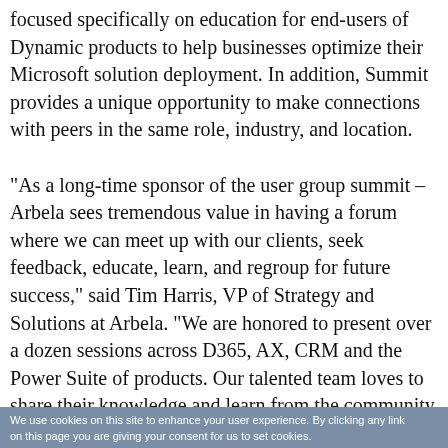focused specifically on education for end-users of Dynamic products to help businesses optimize their Microsoft solution deployment. In addition, Summit provides a unique opportunity to make connections with peers in the same role, industry, and location.

"As a long-time sponsor of the user group summit – Arbela sees tremendous value in having a forum where we can meet up with our clients, seek feedback, educate, learn, and regroup for future success," said Tim Harris, VP of Strategy and Solutions at Arbela. "We are honored to present over a dozen sessions across D365, AX, CRM and the Power Suite of products. Our talented team loves to share their knowledge and learn from the community at
We use cookies on this site to enhance your user experience. By clicking any link on this page you are giving your consent for us to set cookies.